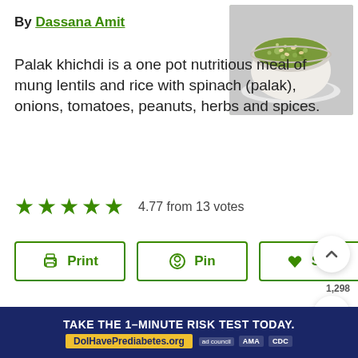By Dassana Amit
[Figure (photo): A bowl of palak khichdi — green mung lentil and rice dish with spinach]
Palak khichdi is a one pot nutritious meal of mung lentils and rice with spinach (palak), onions, tomatoes, peanuts, herbs and spices.
4.77 from 13 votes
Print | Pin | Save 1,298
Prep Time 30 mins | Cook Time 10 mins
TAKE THE 1-MINUTE RISK TEST TODAY. DoIHavePrediabetes.org